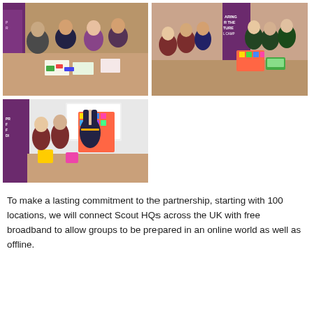[Figure (photo): Group of young people seated around a table engaged in an activity, with a purple branded banner in the background at what appears to be a Scouts event.]
[Figure (photo): Group of people standing behind a table with colourful display projects, with banners reading 'Caring for the Future' in the background at a Scouts event.]
[Figure (photo): Three young people standing at the front presenting a colourful project board, with a Scout volunteer beside them, in front of purple branded banners.]
To make a lasting commitment to the partnership, starting with 100 locations, we will connect Scout HQs across the UK with free broadband to allow groups to be prepared in an online world as well as offline.